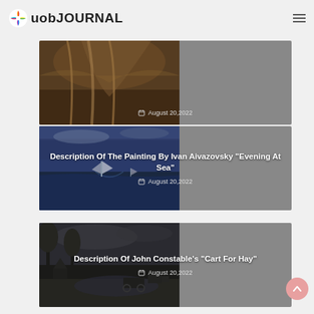uob JOURNAL
[Figure (illustration): Partial warm-toned painting card showing August 20,2022 date]
[Figure (photo): Painting by Ivan Aivazovsky showing sailing ships at sea in evening light]
Description Of The Painting By Ivan Aivazovsky "Evening At Sea"
August 20,2022
[Figure (photo): Dark countryside painting resembling John Constable's style]
Description Of John Constable's “Cart For Hay”
August 20,2022